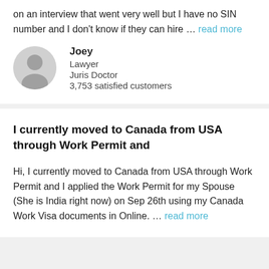on an interview that went very well but I have no SIN number and I don't know if they can hire … read more
Joey
Lawyer
Juris Doctor
3,753 satisfied customers
I currently moved to Canada from USA through Work Permit and
Hi, I currently moved to Canada from USA through Work Permit and I applied the Work Permit for my Spouse (She is India right now) on Sep 26th using my Canada Work Visa documents in Online. … read more